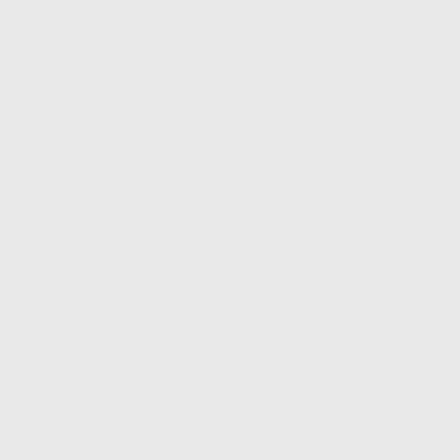•  Page 21
•  Page 41
•  Page 16
•  Page 45
•  Page 26